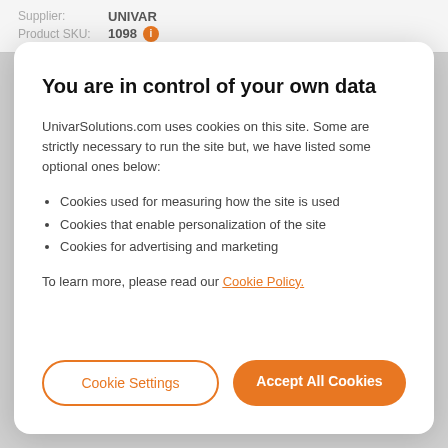Supplier: UNIVAR
Product SKU: 1098
You are in control of your own data
UnivarSolutions.com uses cookies on this site. Some are strictly necessary to run the site but, we have listed some optional ones below:
Cookies used for measuring how the site is used
Cookies that enable personalization of the site
Cookies for advertising and marketing
To learn more, please read our Cookie Policy.
Cookie Settings
Accept All Cookies